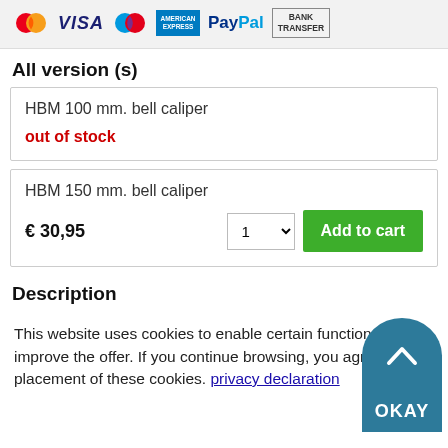[Figure (other): Payment method logos: MasterCard, VISA, Maestro, American Express, PayPal, Bank Transfer]
All version (s)
| HBM 100 mm. bell caliper | out of stock |
| HBM 150 mm. bell caliper | € 30,95 | 1 | Add to cart |
Description
This website uses cookies to enable certain functions and to improve the offer. If you continue browsing, you agree to the placement of these cookies. privacy declaration